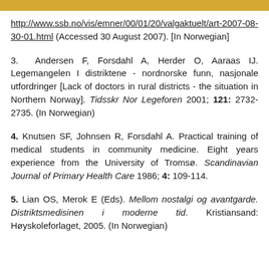http://www.ssb.no/vis/emner/00/01/20/valgaktuelt/art-2007-08-30-01.html (Accessed 30 August 2007). [In Norwegian]
3. Andersen F, Forsdahl A, Herder O, Aaraas IJ. Legemangelen I distriktene - nordnorske funn, nasjonale utfordringer [Lack of doctors in rural districts - the situation in Northern Norway]. Tidsskr Nor Legeforen 2001; 121: 2732-2735. (In Norwegian)
4. Knutsen SF, Johnsen R, Forsdahl A. Practical training of medical students in community medicine. Eight years experience from the University of Tromsø. Scandinavian Journal of Primary Health Care 1986; 4: 109-114.
5. Lian OS, Merok E (Eds). Mellom nostalgi og avantgarde. Distriktsmedisinen i moderne tid. Kristiansand: Høyskoleforlaget, 2005. (In Norwegian)